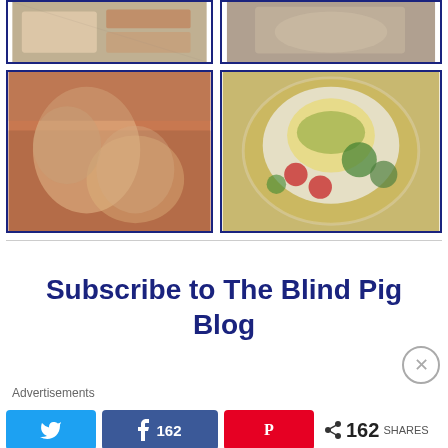[Figure (photo): Food blog photo collage: top-left shows food items on plaid cloth, top-right shows another food item on cloth, bottom-left shows wine glasses being clinked over plaid tablecloth, bottom-right shows a plate with a baked/stuffed item topped with herb crust, served with broccoli, cherry tomatoes, and mixed greens on a wicker placemat.]
Subscribe to The Blind Pig Blog
Advertisements
162 SHARES